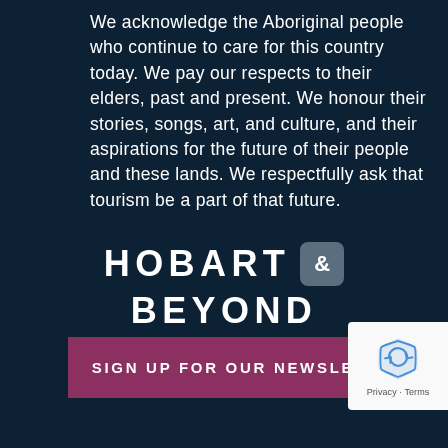We acknowledge the Aboriginal people who continue to care for this country today. We pay our respects to their elders, past and present. We honour their stories, songs, art, and culture, and their aspirations for the future of their people and these lands. We respectfully ask that tourism be a part of that future.
[Figure (logo): Hobart & Beyond logo — 'HOBART' in bold white uppercase letters followed by a rounded square icon containing '&', then 'BEYOND' in bold white uppercase letters on the next line]
SIGN UP FOR OUR NEWSLETTER